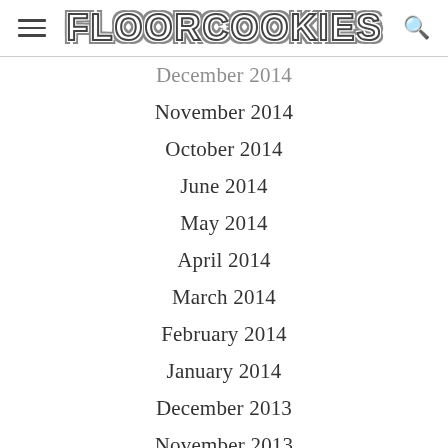FLOORCOOKIES
December 2014
November 2014
October 2014
June 2014
May 2014
April 2014
March 2014
February 2014
January 2014
December 2013
November 2013
October 2013
May 2013